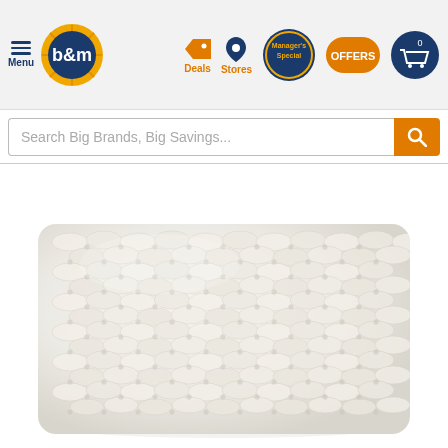B&M website header with Menu, B&M logo, Deals, Stores, Manager's Special, OFFERS, and cart (0) navigation elements
Search Big Brands, Big Savings...
[Figure (photo): A white chunky knitted or woven rope storage basket photographed on a white background. The basket is rectangular with visible woven rope texture throughout.]